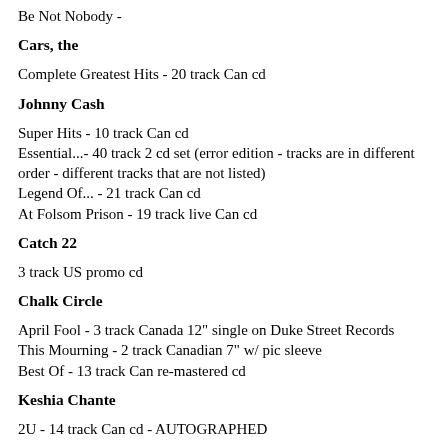Be Not Nobody -
Cars, the
Complete Greatest Hits - 20 track Can cd
Johnny Cash
Super Hits - 10 track Can cd
Essential...- 40 track 2 cd set (error edition - tracks are in different order - different tracks that are not listed)
Legend Of... - 21 track Can cd
At Folsom Prison - 19 track live Can cd
Catch 22
3 track US promo cd
Chalk Circle
April Fool - 3 track Canada 12" single on Duke Street Records
This Mourning - 2 track Canadian 7" w/ pic sleeve
Best Of - 13 track Can re-mastered cd
Keshia Chante
2U - 14 track Can cd - AUTOGRAPHED
Charlie Daniels Band
A Decade of Hits - 10 track Can cd